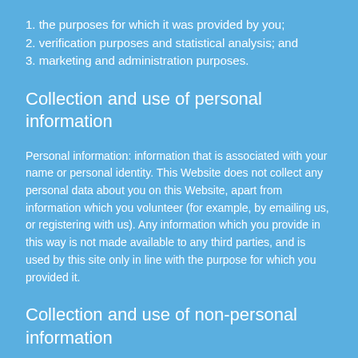1. the purposes for which it was provided by you;
2. verification purposes and statistical analysis; and
3. marketing and administration purposes.
Collection and use of personal information
Personal information: information that is associated with your name or personal identity. This Website does not collect any personal data about you on this Website, apart from information which you volunteer (for example, by emailing us, or registering with us). Any information which you provide in this way is not made available to any third parties, and is used by this site only in line with the purpose for which you provided it.
Collection and use of non-personal information
Non-personal information: data collected for statistical purposes which is not associated with a specific identity. This site collects and analyses technical information in order to evaluate our Website.